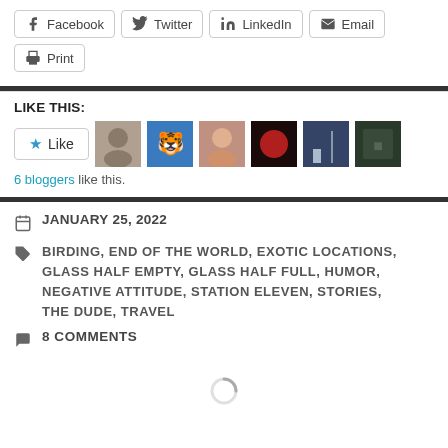Facebook  Twitter  LinkedIn  Email  Print
LIKE THIS:
6 bloggers like this.
JANUARY 25, 2022
BIRDING, END OF THE WORLD, EXOTIC LOCATIONS, GLASS HALF EMPTY, GLASS HALF FULL, HUMOR, NEGATIVE ATTITUDE, STATION ELEVEN, STORIES, THE DUDE, TRAVEL
8 COMMENTS